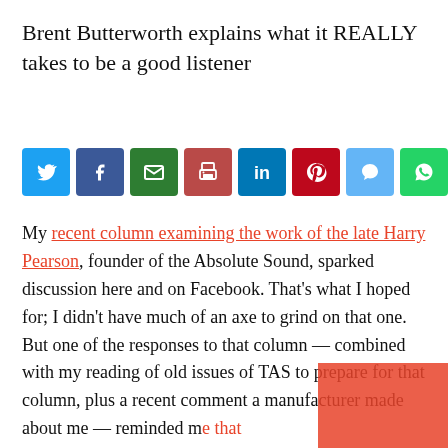Brent Butterworth explains what it REALLY takes to be a good listener
[Figure (infographic): Row of 8 social media share buttons: Twitter (blue), Facebook (dark blue), Email (green), Print (red-brown), LinkedIn (blue), Pinterest (dark red), Chat (light blue), WhatsApp (green)]
My recent column examining the work of the late Harry Pearson, founder of the Absolute Sound, sparked discussion here and on Facebook. That's what I hoped for; I didn't have much of an axe to grind on that one. But one of the responses to that column — combined with my reading of old issues of TAS to prepare for that column, plus a recent comment a manufacturer made about me — reminded me that